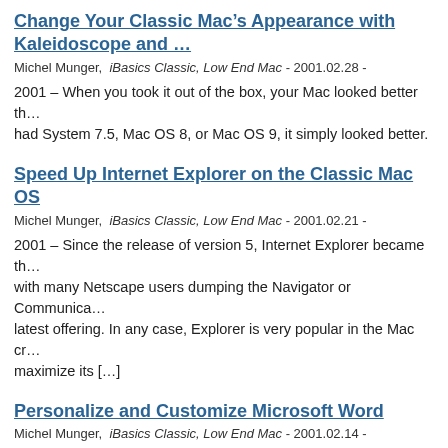Change Your Classic Mac’s Appearance with Kaleidoscope and …
Michel Munger,  iBasics Classic, Low End Mac - 2001.02.28 -
2001 – When you took it out of the box, your Mac looked better th… had System 7.5, Mac OS 8, or Mac OS 9, it simply looked better.
Speed Up Internet Explorer on the Classic Mac OS
Michel Munger,  iBasics Classic, Low End Mac - 2001.02.21 -
2001 – Since the release of version 5, Internet Explorer became th… with many Netscape users dumping the Navigator or Communica… latest offering. In any case, Explorer is very popular in the Mac cr… maximize its […]
Personalize and Customize Microsoft Word
Michel Munger,  iBasics Classic, Low End Mac - 2001.02.14 -
2001 – Hi everybody and welcome to iBasics.* The intent of this w… your Macintosh and get the most out of it, whether it is old or ne… relies on the use of a Macintosh for a living, but everybody wants…
See more Low End Mac links in our archive.